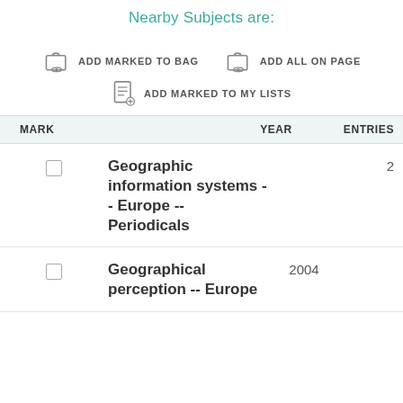Nearby Subjects are:
ADD MARKED TO BAG   ADD ALL ON PAGE   ADD MARKED TO MY LISTS
| MARK |  | YEAR | ENTRIES |
| --- | --- | --- | --- |
| ☐ | Geographic information systems -- Europe -- Periodicals |  | 2 |
| ☐ | Geographical perception -- Europe | 2004 |  |